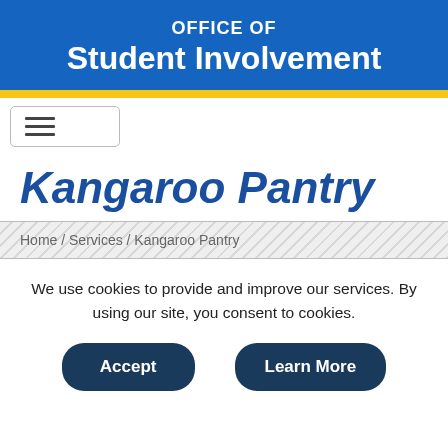OFFICE OF Student Involvement
[Figure (screenshot): Hamburger menu icon with three horizontal lines inside a rounded rectangle border]
Kangaroo Pantry
Home / Services / Kangaroo Pantry
We use cookies to provide and improve our services. By using our site, you consent to cookies.
Accept
Learn More